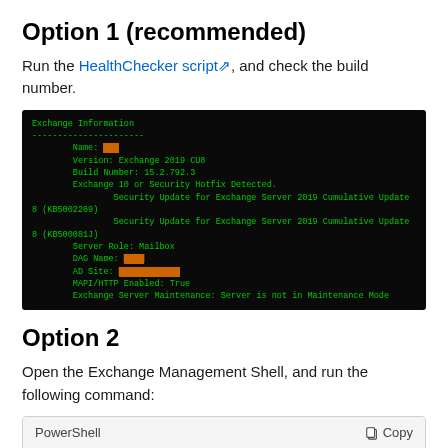Option 1 (recommended)
Run the HealthChecker script, and check the build number.
[Figure (screenshot): Terminal/console output showing Exchange server information including name, version (Exchange 2019 CU8), build number (15.2.792.3), security hotfix detected, security updates, server role (Mailbox), DAG name, AD Site, MAPI/HTTP Enabled: True, and Exchange Server Maintenance: Server is not in Maintenance Mode. Green text on black background.]
Option 2
Open the Exchange Management Shell, and run the following command:
PowerShell  Copy
Get-Command Exsetup.exe | ForEach {$_.FileVersi